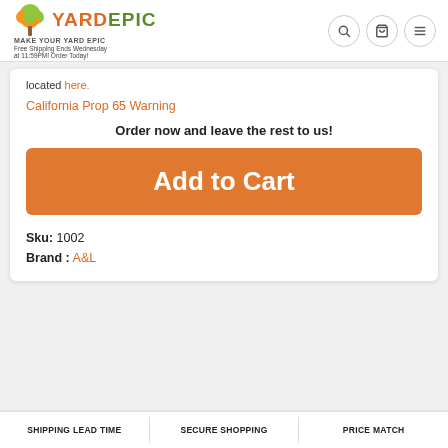YARDEPIC - MAKE YOUR YARD EPIC - Free Shipping Ends Wednesday at 11:59PM! Order Today!
located here.
California Prop 65 Warning
Order now and leave the rest to us!
Add to Cart
Sku: 1002
Brand : A&L
SHIPPING LEAD TIME | SECURE SHOPPING | PRICE MATCH